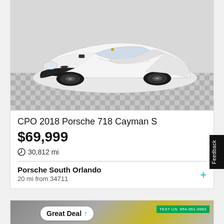[Figure (photo): White 2018 Porsche 718 Cayman S photographed from front-left angle on a checkered tile floor in a dealership showroom]
CPO 2018 Porsche 718 Cayman S
$69,999
30,812 mi
Porsche South Orlando
20 mi from 34711
[Figure (photo): Partial view of a yellow/gold sports car at a dealership with a 'Great Deal' badge and 'TEXT US: 954-951-9983' green banner]